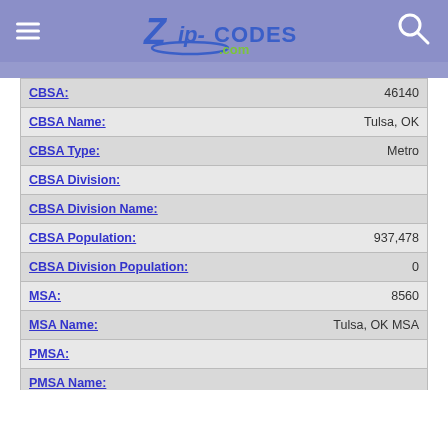Zip-Codes.com
| Field | Value |
| --- | --- |
| CBSA: | 46140 |
| CBSA Name: | Tulsa, OK |
| CBSA Type: | Metro |
| CBSA Division: |  |
| CBSA Division Name: |  |
| CBSA Population: | 937,478 |
| CBSA Division Population: | 0 |
| MSA: | 8560 |
| MSA Name: | Tulsa, OK MSA |
| PMSA: |  |
| PMSA Name: |  |